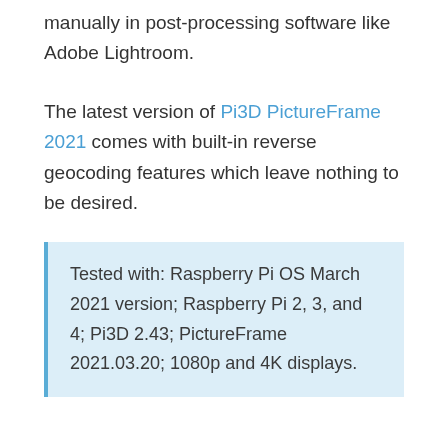manually in post-processing software like Adobe Lightroom.
The latest version of Pi3D PictureFrame 2021 comes with built-in reverse geocoding features which leave nothing to be desired.
Tested with: Raspberry Pi OS March 2021 version; Raspberry Pi 2, 3, and 4; Pi3D 2.43; PictureFrame 2021.03.20; 1080p and 4K displays.